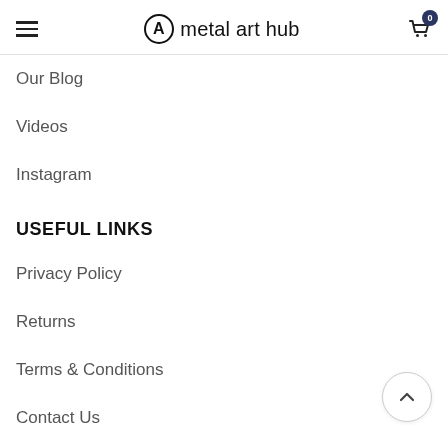metal art hub
Our Blog
Videos
Instagram
USEFUL LINKS
Privacy Policy
Returns
Terms & Conditions
Contact Us
FAQs
Latest News
SHOP MENU